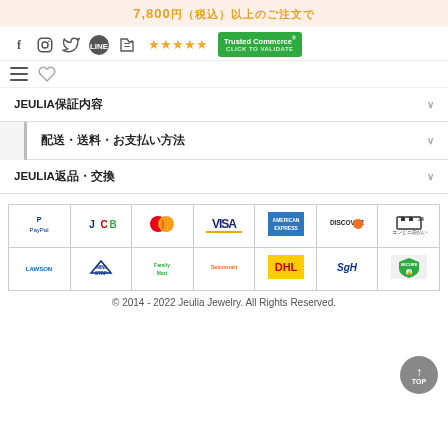7,800円（税込）以上のご注文で
[Figure (screenshot): Navigation bar with social media icons (Facebook, Instagram, Twitter, LINE, Blogger), star rating (5 stars), and Trusted Commerce badge]
JEULIA保証内容
配送・送料・お支払い方法
JEULIA返品・交換
[Figure (infographic): Payment method logos grid: PayPal, JCB, Mastercard, VISA, American Express, Discover, コンビニ前払い (24), LAWSON, MINISTOP, FamilyMart, Seicomart, DHL, SGH, Secure Connection]
© 2014 - 2022 Jeulia Jewelry. All Rights Reserved.